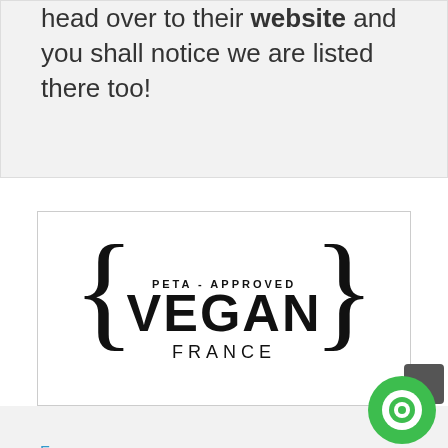head over to their website and you shall notice we are listed there too!
[Figure (logo): PETA-Approved Vegan France logo — curly braces framing the text 'PETA-APPROVED' above large 'VEGAN' and 'FRANCE' below]
PETA France
France
PETA's campaigns in